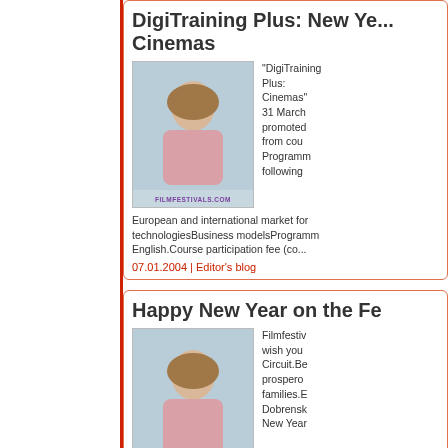DigiTraining Plus: New Year Cinemas
[Figure (photo): Person photographed outdoors with FILMFESTIVALS.COM watermark]
"DigiTraining Plus: New Year Cinemas" 31 March promoted from cou Programm following European and international market for technologiesBusiness modelsProgramm English.Course participation fee (co...
07.01.2004 | Editor's blog
Happy New Year on the Fe
[Figure (photo): Person photographed outdoors with FILMFESTIVALS.COM watermark]
Filmfestiv wish you Circuit.Be prospero families.E Dobrensk New Year lot for a couple of weeks as a new yea as New Year's Day in modern America NEW YEARSThe celebration of the ne
01.01.2004 | Editor's blog